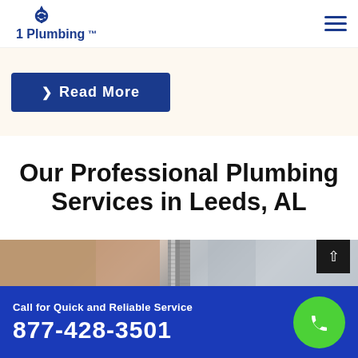[Figure (logo): 1 Plumbing logo with water drop and gear icon in blue]
[Figure (infographic): Hamburger menu icon (three horizontal lines) in blue on top right]
[Figure (screenshot): Blue Read More button with arrow on cream background]
Our Professional Plumbing Services in Leeds, AL
[Figure (photo): Close-up photo of plumbing pipe/bolt hardware with blurred background]
Call for Quick and Reliable Service
877-428-3501
[Figure (infographic): Green circle phone icon]